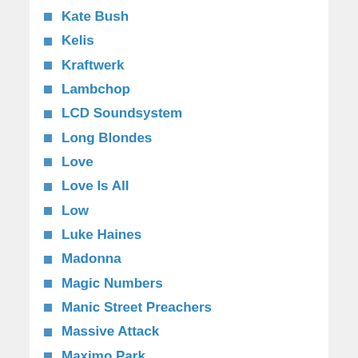Kate Bush
Kelis
Kraftwerk
Lambchop
LCD Soundsystem
Long Blondes
Love
Love Is All
Low
Luke Haines
Madonna
Magic Numbers
Manic Street Preachers
Massive Attack
Maximo Park
Mercury Rev
Milburn
Missy Elliott
Mogwai
Morrissey
Mull Historical Society